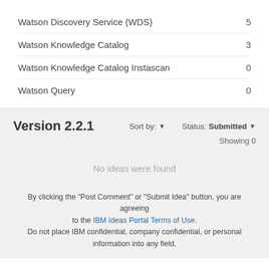Watson Discovery Service (WDS)    5
Watson Knowledge Catalog    3
Watson Knowledge Catalog Instascan    0
Watson Query    0
Version 2.2.1
Sort by: ▼    Status: Submitted ▼
Showing 0
No ideas were found
By clicking the "Post Comment" or "Submit Idea" button, you are agreeing to the IBM Ideas Portal Terms of Use. Do not place IBM confidential, company confidential, or personal information into any field.